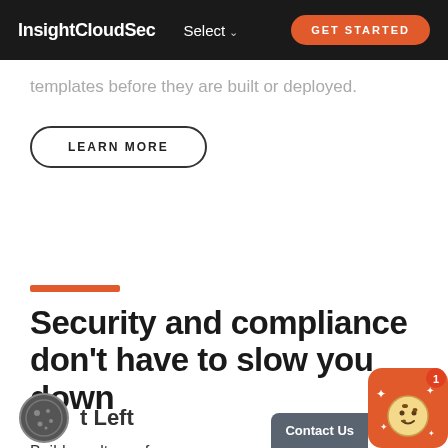InsightCloudSec  Select  GET STARTED
templates before they are built or deployed.
LEARN MORE
Security and compliance don't have to slow you down
t Left
Build a culture of collaboration with De  ng